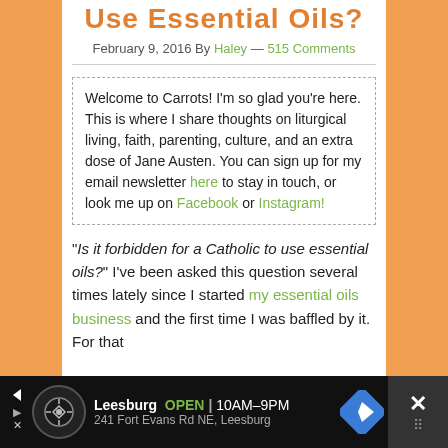Use Essential Oils?
February 9, 2016 By Haley — 515 Comments
Welcome to Carrots! I'm so glad you're here. This is where I share thoughts on liturgical living, faith, parenting, culture, and an extra dose of Jane Austen. You can sign up for my email newsletter here to stay in touch, or look me up on Facebook or Instagram!
“Is it forbidden for a Catholic to use essential oils?” I’ve been asked this question several times lately since I started my essential oils business and the first time I was baffled by it. For that
[Figure (infographic): Advertisement banner for Leesburg store showing logo, store hours OPEN 10AM-9PM, address 241 Fort Evans Rd NE Leesburg, navigation arrow icon, and close button]